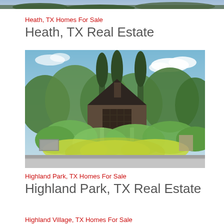[Figure (photo): Top strip of a house image partially cropped at the top of the page]
Heath, TX Homes For Sale
Heath, TX Real Estate
[Figure (photo): Exterior photo of a Tudor-style home entrance with green landscaping, flowering shrubs, and tall cypress trees under a blue sky with white clouds]
Highland Park, TX Homes For Sale
Highland Park, TX Real Estate
Highland Village, TX Homes For Sale